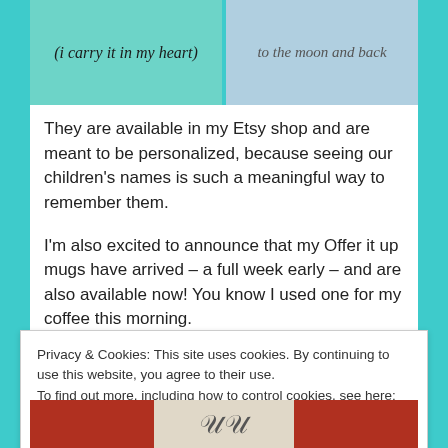[Figure (photo): Two side-by-side photos showing calligraphy/hand-lettering art pieces on teal/blue watercolor backgrounds. Left image shows cursive text '(i carry it in my heart)' and right shows cursive text partially visible 'to the moon and back'.]
They are available in my Etsy shop and are meant to be personalized, because seeing our children's names is such a meaningful way to remember them.
I'm also excited to announce that my Offer it up mugs have arrived – a full week early – and are also available now! You know I used one for my coffee this morning.
Privacy & Cookies: This site uses cookies. By continuing to use this website, you agree to their use.
To find out more, including how to control cookies, see here: Cookie Policy
Close and accept
[Figure (photo): Bottom portion of an image showing mugs with red sides and a central light-colored mug with decorative lettering, partially cut off at the bottom of the page.]